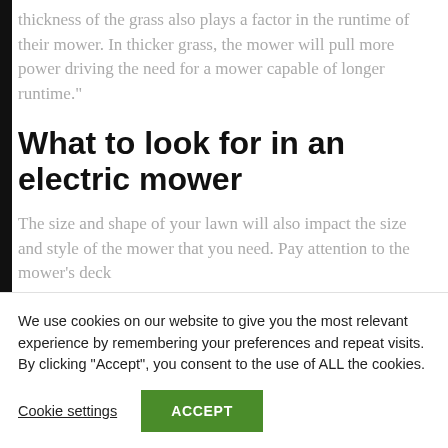thickness of the grass also plays a factor in the runtime of their mower. In thicker grass, the mower will pull more power driving the need for a mower capable of longer runtime."
What to look for in an electric mower
The size and shape of your lawn will also impact the size and style of the mower that you need. Pay attention to the mower's deck
We use cookies on our website to give you the most relevant experience by remembering your preferences and repeat visits. By clicking "Accept", you consent to the use of ALL the cookies.
Cookie settings    ACCEPT